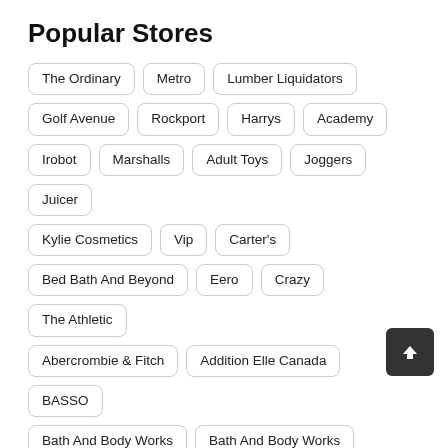Popular Stores
The Ordinary
Metro
Lumber Liquidators
Golf Avenue
Rockport
Harrys
Academy
Irobot
Marshalls
Adult Toys
Joggers
Juicer
Kylie Cosmetics
Vip
Carter's
Bed Bath And Beyond
Eero
Crazy
The Athletic
Abercrombie & Fitch
Addition Elle Canada
BASSO
Bath And Body Works
Bath And Body Works
Bathroom Vanity
BBQ Grill
BC Racing Coilovers
BeachBody
Beauty
NuFACE
San Diego